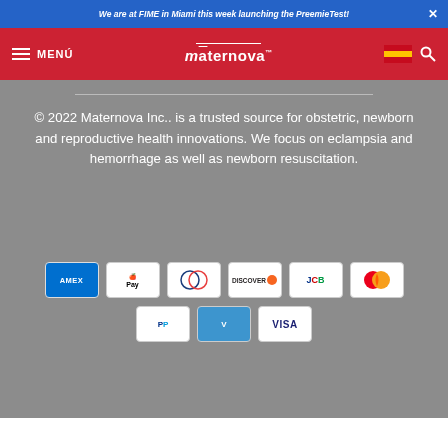We are at FIME in Miami this week launching the PreemieTest!
MENÚ — maternova (logo)
© 2022 Maternova Inc.. is a trusted source for obstetric, newborn and reproductive health innovations. We focus on eclampsia and hemorrhage as well as newborn resuscitation.
[Figure (other): Payment method logos: AMEX, Apple Pay, Diners Club, Discover, JCB, Mastercard, PayPal, Venmo, Visa]